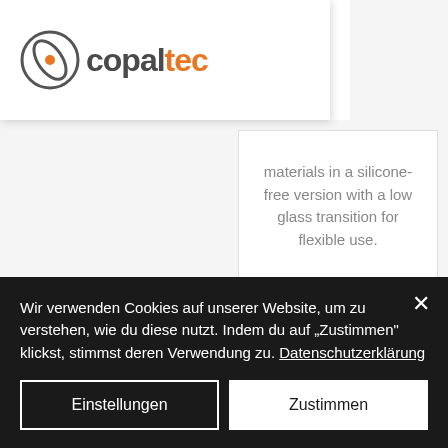[Figure (logo): Copaltec logo with circular icon and company name in two colors]
materials in a silicone-free version with a low glass transition for flexible use.
View Product ›
[Figure (photo): Industrial machinery/equipment photo with blue components]
Wir verwenden Cookies auf unserer Website, um zu verstehen, wie du diese nutzt. Indem du auf „Zustimmen" klickst, stimmst deren Verwendung zu. Datenschutzerklärung
Einstellungen
Zustimmen